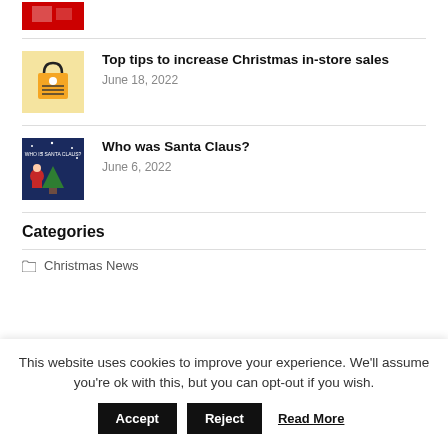[Figure (photo): Partial red thumbnail image at top]
Top tips to increase Christmas in-store sales
June 18, 2022
Who was Santa Claus?
June 6, 2022
Categories
Christmas News
This website uses cookies to improve your experience. We'll assume you're ok with this, but you can opt-out if you wish.